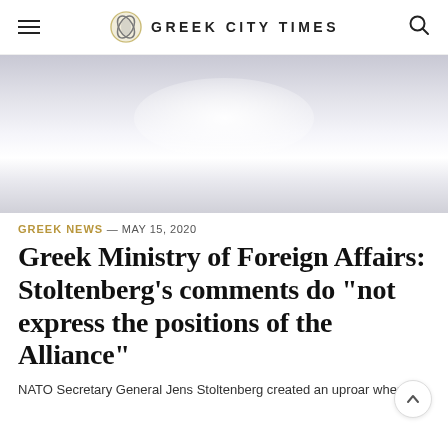GREEK CITY TIMES
[Figure (photo): A blurred/overexposed hero image with light gradient, appearing as a whitish-grey background image placeholder.]
GREEK NEWS — MAY 15, 2020
Greek Ministry of Foreign Affairs: Stoltenberg’s comments do “not express the positions of the Alliance”
NATO Secretary General Jens Stoltenberg created an uproar when